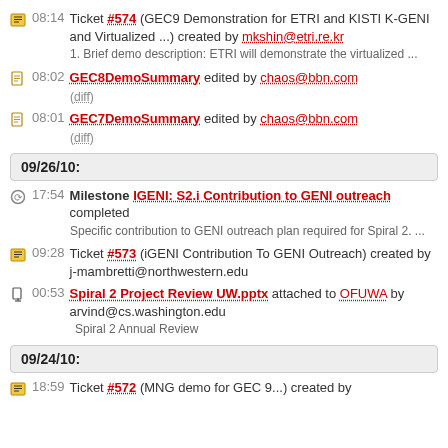08:14 Ticket #574 (GEC9 Demonstration for ETRI and KISTI K-GENI and Virtualized ...) created by mkshin@etri.re.kr
1. Brief demo description: ETRI will demonstrate the virtualized ...
08:02 GEC8DemoSummary edited by chaos@bbn.com (diff)
08:01 GEC7DemoSummary edited by chaos@bbn.com (diff)
09/26/10:
17:54 Milestone IGENI: S2.i Contribution to GENI outreach completed
Specific contribution to GENI outreach plan required for Spiral 2. ...
09:28 Ticket #573 (iGENI Contribution To GENI Outreach) created by j-mambretti@northwestern.edu
00:53 Spiral 2 Project Review UW.pptx attached to OFUWA by arvind@cs.washington.edu
Spiral 2 Annual Review
09/24/10:
18:59 Ticket #572 (MNG demo for GEC 9...) created by